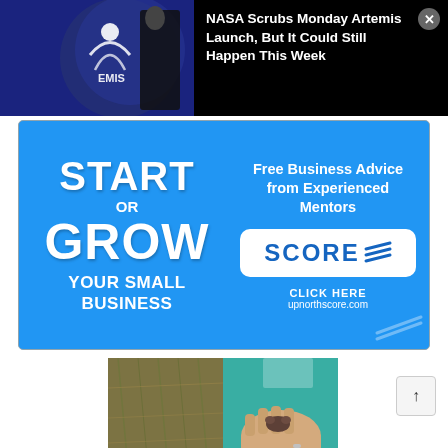[Figure (screenshot): Notification overlay showing NASA Artemis news with person walking past an Artemis logo display]
NASA Scrubs Monday Artemis Launch, But It Could Still Happen This Week
[Figure (infographic): Advertisement for SCORE: Start or Grow Your Small Business - Free Business Advice from Experienced Mentors, CLICK HERE upnorthscore.com]
[Figure (photo): Two side-by-side photos related to an article below - one showing aquatic vegetation and one showing a small creature in a hand]